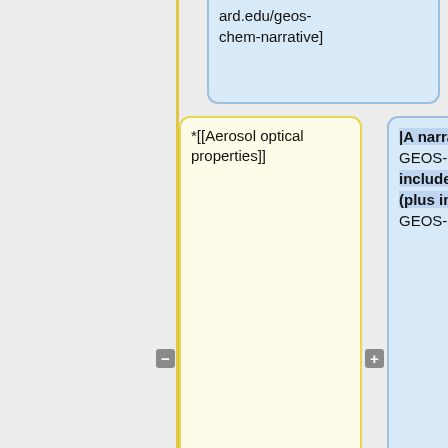ard.edu/geos-chem-narrative]
*[[Aerosol optical properties]]
|A narrative descrption of GEOS-Chem that you can include in scientific papers (plus instructions for citing GEOS-Chem)
*[[Aerosol thermodynamical equilibrium]]
* [[Carbonaceous aerosols]]
*[[Mineral dust aerosols]]